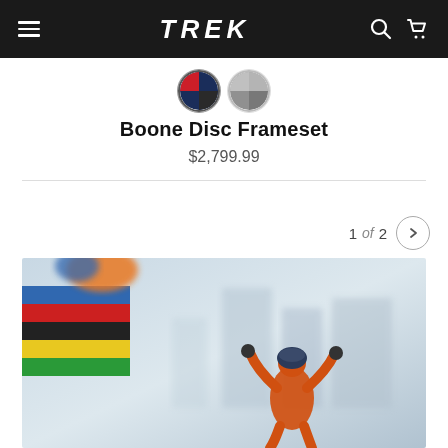TREK navigation header with hamburger menu, TREK logo, search and cart icons
[Figure (other): Color swatch selectors: red/blue/dark swatch (selected) and grey swatch]
Boone Disc Frameset
$2,799.99
1 of 2
[Figure (photo): Photo of a cyclist celebrating a victory with arms raised, wearing an orange skinsuit and helmet, with UCI rainbow banner stripes (blue, red, black, yellow, green) visible on the left side, blurred grey urban background]